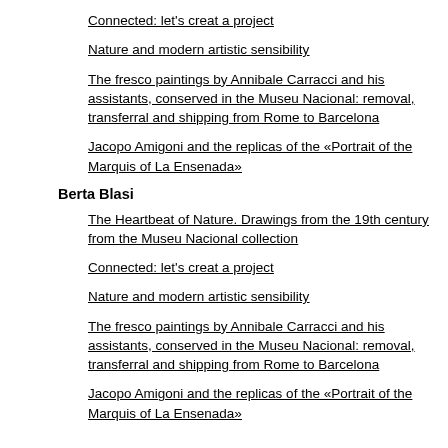collection
Connected: let's creat a project
Nature and modern artistic sensibility
The fresco paintings by Annibale Carracci and his assistants, conserved in the Museu Nacional: removal, transferral and shipping from Rome to Barcelona
Jacopo Amigoni and the replicas of the «Portrait of the Marquis of La Ensenada»
Berta Blasi
The Heartbeat of Nature. Drawings from the 19th century from the Museu Nacional collection
Connected: let's creat a project
Nature and modern artistic sensibility
The fresco paintings by Annibale Carracci and his assistants, conserved in the Museu Nacional: removal, transferral and shipping from Rome to Barcelona
Jacopo Amigoni and the replicas of the «Portrait of the Marquis of La Ensenada»